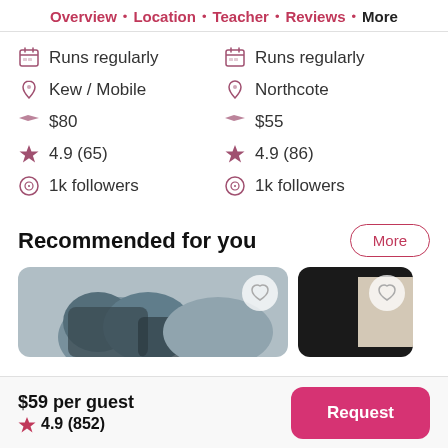Overview · Location · Teacher · Reviews · More
Runs regularly | Kew / Mobile | $80 | 4.9 (65) | 1k followers
Runs regularly | Northcote | $55 | 4.9 (86) | 1k followers
Recommended for you
[Figure (photo): Two product/class listing cards with photos. Left card shows a close-up of hands with dark nail polish. Right card shows a dark/black background image.]
$59 per guest ★ 4.9 (852)
Request